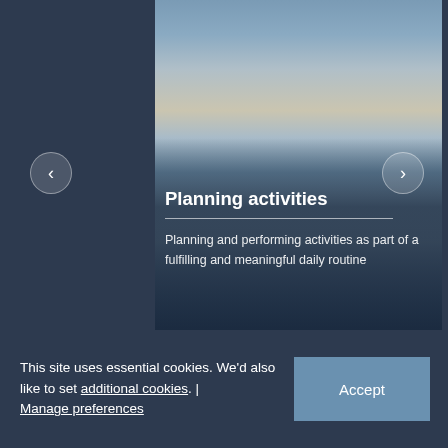[Figure (photo): Elderly man with grey hair looking down, standing in front of store shelves with blurred background. A text overlay reads 'Planning activities' with a subtitle describing planning and performing activities as part of a fulfilling and meaningful daily routine.]
This site uses essential cookies. We'd also like to set additional cookies. | Manage preferences